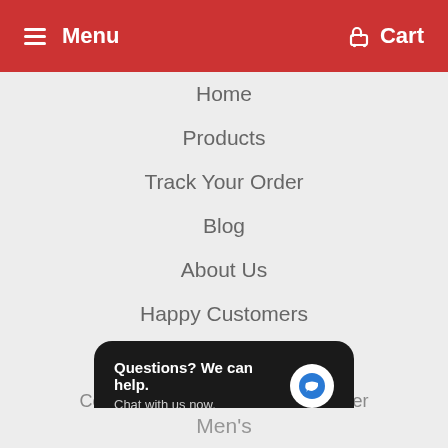Menu   Cart
Home
Products
Track Your Order
Blog
About Us
Happy Customers
GET IN TOUCH
Contact us on Facebook Messenger
CATEGORIES
B U News
[Figure (screenshot): Chat popup widget with dark background showing 'Questions? We can help. Chat with us now.' and a blue speech bubble icon]
Men's